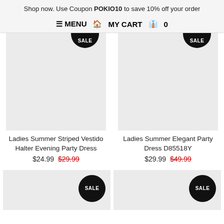Shop now. Use Coupon POKIO10 to save 10% off your order
MENU  MY CART  0
[Figure (photo): Product image placeholder with SALE badge (half-circle at top) for Ladies Summer Striped Vestido Halter Evening Party Dress]
[Figure (photo): Product image placeholder with SALE badge (half-circle at top) for Ladies Summer Elegant Party Dress D85518Y]
Ladies Summer Striped Vestido Halter Evening Party Dress
$24.99  $29.99
Ladies Summer Elegant Party Dress D85518Y
$29.99  $49.99
[Figure (photo): Product image placeholder with SALE badge (full circle) - bottom left]
[Figure (photo): Product image placeholder with SALE badge (full circle) - bottom right]